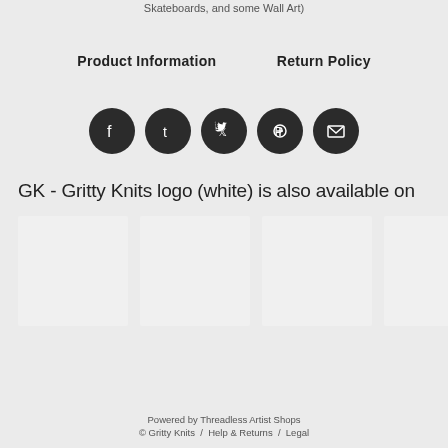Skateboards, and some Wall Art)
Product Information    Return Policy
[Figure (other): Five social media icon buttons (Facebook, Tumblr, Twitter, Pinterest, Email) as dark circles with white icons]
GK - Gritty Knits logo (white) is also available on
[Figure (other): Six white/light grey product thumbnail images in a row]
Powered by Threadless Artist Shops
© Gritty Knits /  Help & Returns /  Legal